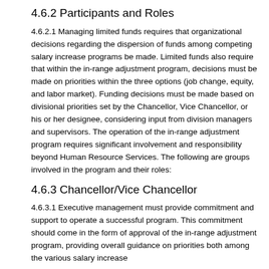4.6.2 Participants and Roles
4.6.2.1 Managing limited funds requires that organizational decisions regarding the dispersion of funds among competing salary increase programs be made. Limited funds also require that within the in-range adjustment program, decisions must be made on priorities within the three options (job change, equity, and labor market). Funding decisions must be made based on divisional priorities set by the Chancellor, Vice Chancellor, or his or her designee, considering input from division managers and supervisors. The operation of the in-range adjustment program requires significant involvement and responsibility beyond Human Resource Services. The following are groups involved in the program and their roles:
4.6.3 Chancellor/Vice Chancellor
4.6.3.1 Executive management must provide commitment and support to operate a successful program. This commitment should come in the form of approval of the in-range adjustment program, providing overall guidance on priorities both among the various salary increase